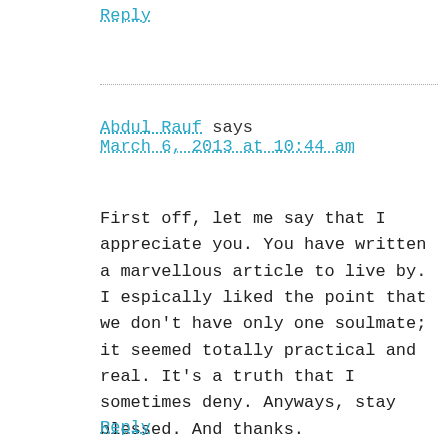Reply
Abdul Rauf says
March 6, 2013 at 10:44 am
First off, let me say that I appreciate you. You have written a marvellous article to live by. I espically liked the point that we don't have only one soulmate; it seemed totally practical and real. It's a truth that I sometimes deny. Anyways, stay blessed. And thanks.
Reply